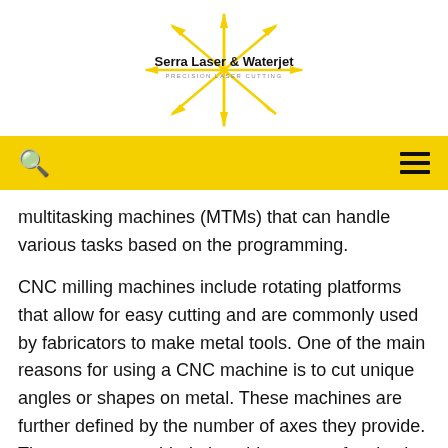[Figure (logo): Serra Laser & Waterjet logo with yellow starburst/sunburst graphic and text 'Serra Laser & Waterjet PRECISION LASER CUTTING']
multitasking machines (MTMs) that can handle various tasks based on the programming.
CNC milling machines include rotating platforms that allow for easy cutting and are commonly used by fabricators to make metal tools. One of the main reasons for using a CNC machine is to cut unique angles or shapes on metal. These machines are further defined by the number of axes they provide. The more axes added, the wider range of tasks the machine can perform. Serra Laser is equipped with a 3 axis Mitsubishi vertical mill. This machine has a 24 station tool